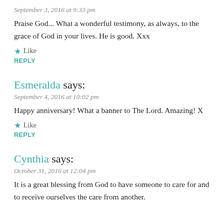September 3, 2016 at 9:33 pm
Praise God... What a wonderful testimony, as always, to the grace of God in your lives. He is good. Xxx
Like
REPLY
Esmeralda says:
September 4, 2016 at 10:02 pm
Happy anniversary! What a banner to The Lord. Amazing! X
Like
REPLY
Cynthia says:
October 31, 2016 at 12:04 pm
It is a great blessing from God to have someone to care for and to receive ourselves the care from another.